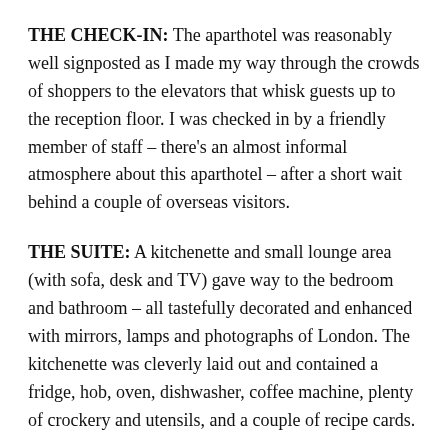THE CHECK-IN: The aparthotel was reasonably well signposted as I made my way through the crowds of shoppers to the elevators that whisk guests up to the reception floor. I was checked in by a friendly member of staff – there's an almost informal atmosphere about this aparthotel – after a short wait behind a couple of overseas visitors.
THE SUITE: A kitchenette and small lounge area (with sofa, desk and TV) gave way to the bedroom and bathroom – all tastefully decorated and enhanced with mirrors, lamps and photographs of London. The kitchenette was cleverly laid out and contained a fridge, hob, oven, dishwasher, coffee machine, plenty of crockery and utensils, and a couple of recipe cards.
THE FACILITIES: All guests at...